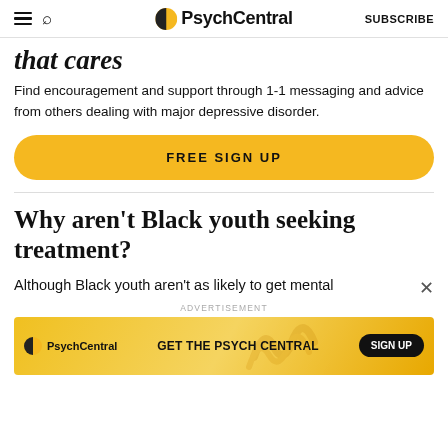PsychCentral | SUBSCRIBE
that cares
Find encouragement and support through 1-1 messaging and advice from others dealing with major depressive disorder.
FREE SIGN UP
Why aren't Black youth seeking treatment?
Although Black youth aren't as likely to get mental
[Figure (screenshot): PsychCentral advertisement banner with logo, text 'GET THE PSYCH CENTRAL' and 'SIGN UP' button on yellow/gold background]